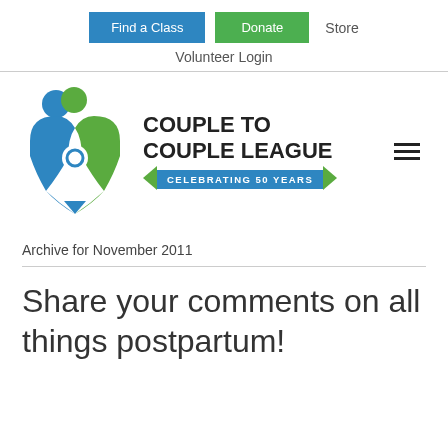Find a Class  Donate  Store  Volunteer Login
[Figure (logo): Couple to Couple League logo — heart shape formed by blue and green figures, with text 'COUPLE TO COUPLE LEAGUE' and ribbon banner 'CELEBRATING 50 YEARS']
Archive for November 2011
Share your comments on all things postpartum!